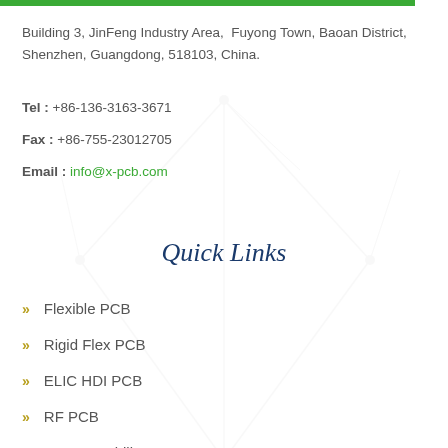Building 3, JinFeng Industry Area,  Fuyong Town, Baoan District, Shenzhen, Guangdong, 518103, China.
Tel : +86-136-3163-3671
Fax : +86-755-23012705
Email : info@x-pcb.com
Quick Links
Flexible PCB
Rigid Flex PCB
ELIC HDI PCB
RF PCB
PCB Capability